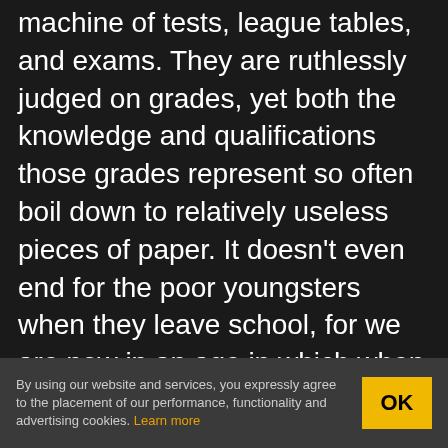machine of tests, league tables, and exams. They are ruthlessly judged on grades, yet both the knowledge and qualifications those grades represent so often boil down to relatively useless pieces of paper. It doesn't even end for the poor youngsters when they leave school, for we are now in an age in which when on moving on from school a greater number of them than ever before are expected to go to university. They emerge three years later carrying a student debt and a freshly-printed degree certificate, only to find that all this education hasn't really taught them
By using our website and services, you expressly agree to the placement of our performance, functionality and advertising cookies. Learn more